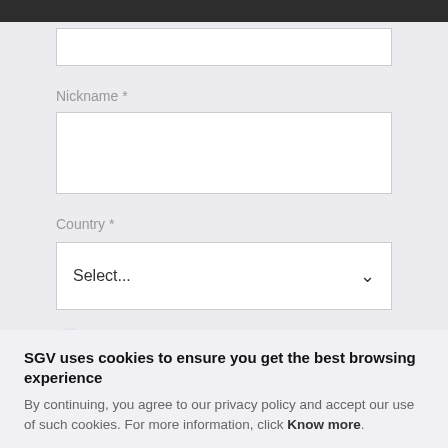Nickname *
Country *
Select...
SGV uses cookies to ensure you get the best browsing experience
By continuing, you agree to our privacy policy and accept our use of such cookies. For more information, click Know more.
Know more
I agree